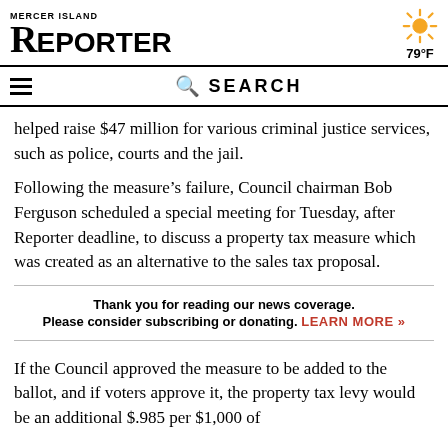MERCER ISLAND REPORTER
helped raise $47 million for various criminal justice services, such as police, courts and the jail.
Following the measure’s failure, Council chairman Bob Ferguson scheduled a special meeting for Tuesday, after Reporter deadline, to discuss a property tax measure which was created as an alternative to the sales tax proposal.
Thank you for reading our news coverage.
Please consider subscribing or donating. LEARN MORE »
If the Council approved the measure to be added to the ballot, and if voters approve it, the property tax levy would be an additional $.985 per $1,000 of